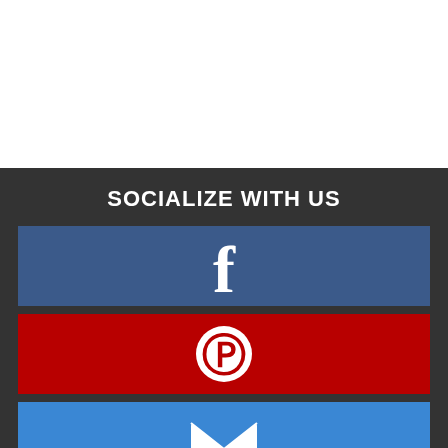SOCIALIZE WITH US
[Figure (logo): Facebook icon button - blue background with white lowercase f]
[Figure (logo): Pinterest icon button - red background with white P circle logo]
[Figure (logo): Email icon button - blue background with white envelope icon]
CONTACT US
Riegelmann's Appliance